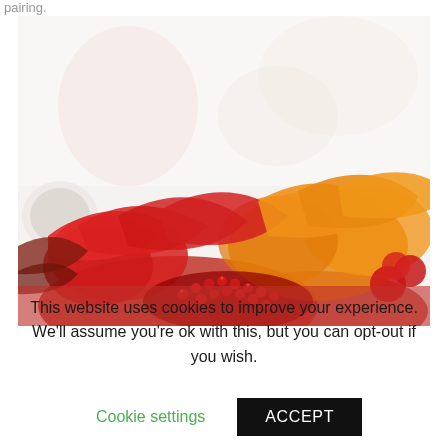pairing.
[Figure (photo): Close-up photo of a colorful fruit platter with strawberries, pomegranate seeds, orange slices, and other red and orange fruits on a white background.]
This website uses cookies to improve your experience. We'll assume you're ok with this, but you can opt-out if you wish.
Cookie settings
ACCEPT